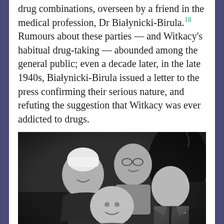drug combinations, overseen by a friend in the medical profession, Dr Białynicki-Birula.18 Rumours about these parties — and Witkacy's habitual drug-taking — abounded among the general public; even a decade later, in the late 1940s, Białynicki-Birula issued a letter to the press confirming their serious nature, and refuting the suggestion that Witkacy was ever addicted to drugs.
[Figure (photo): Black and white photograph showing four people in an animated social gathering or party scene. One person wearing a white head covering leans over another seated person; a man with glasses is visible in the background; another man in a suit is on the right.]